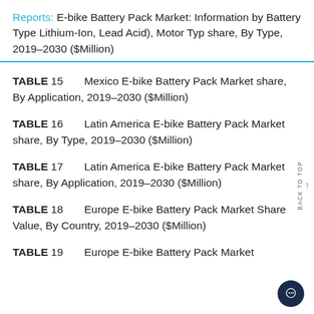Reports: E-bike Battery Pack Market: Information by Battery Type Lithium-Ion, Lead Acid), Motor Typ share, By Type, 2019–2030 ($Million)
TABLE 15   Mexico E-bike Battery Pack Market share, By Application, 2019–2030 ($Million)
TABLE 16   Latin America E-bike Battery Pack Market share, By Type, 2019–2030 ($Million)
TABLE 17   Latin America E-bike Battery Pack Market share, By Application, 2019–2030 ($Million)
TABLE 18   Europe E-bike Battery Pack Market Share Value, By Country, 2019–2030 ($Million)
TABLE 19   Europe E-bike Battery Pack Market